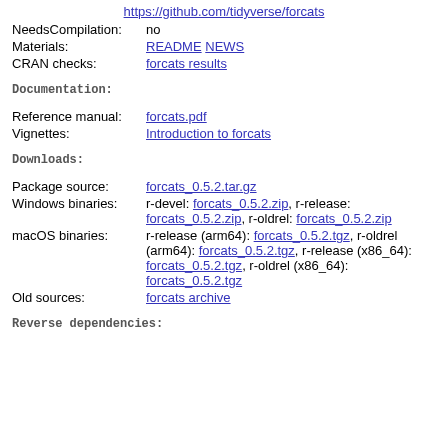https://github.com/tidyverse/forcats
NeedsCompilation: no
Materials: README NEWS
CRAN checks: forcats results
Documentation:
Reference manual: forcats.pdf
Vignettes: Introduction to forcats
Downloads:
Package source: forcats_0.5.2.tar.gz
Windows binaries: r-devel: forcats_0.5.2.zip, r-release: forcats_0.5.2.zip, r-oldrel: forcats_0.5.2.zip
macOS binaries: r-release (arm64): forcats_0.5.2.tgz, r-oldrel (arm64): forcats_0.5.2.tgz, r-release (x86_64): forcats_0.5.2.tgz, r-oldrel (x86_64): forcats_0.5.2.tgz
Old sources: forcats archive
Reverse dependencies: